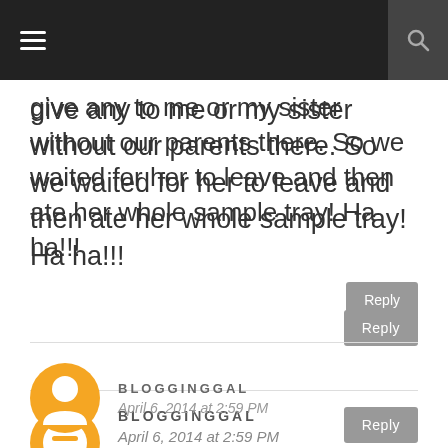give any to me or my sister without our parents there. So we waited for her to leave and then ate her whole sample tray! Ha ha!!!
Reply
BLOGGINGGAL
April 6, 2014 at 2:59 PM
I remember the first time I shared Nutella with my nieces - seeing their eyes widen and chiming, "YUM!" it was brilliant! (Suzi)
Reply